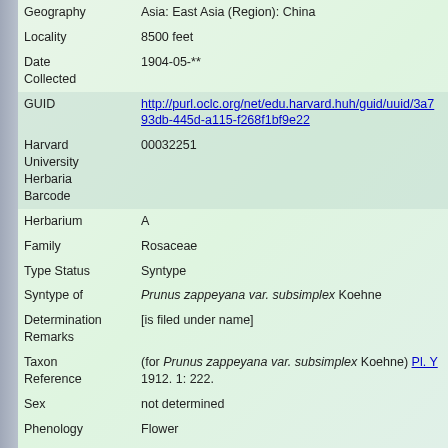| Field | Value |
| --- | --- |
| Geography | Asia: East Asia (Region): China |
| Locality | 8500 feet |
| Date Collected | 1904-05-** |
| GUID | http://purl.oclc.org/net/edu.harvard.huh/guid/uuid/3a7...93db-445d-a115-f268f1bf9e22 |
| Harvard University Herbaria Barcode | 00032251 |
| Herbarium | A |
| Family | Rosaceae |
| Type Status | Syntype |
| Syntype of | Prunus zappeyana var. subsimplex Koehne |
| Determination Remarks | [is filed under name] |
| Taxon Reference | (for Prunus zappeyana var. subsimplex Koehne) Pl. Y 1912. 1: 222. |
| Sex | not determined |
| Phenology | Flower |
| Preparation Type | Sheet |